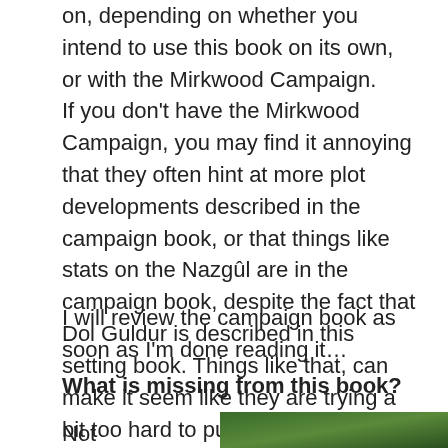on, depending on whether you intend to use this book on its own, or with the Mirkwood Campaign.
If you don't have the Mirkwood Campaign, you may find it annoying that they often hint at more plot developments described in the campaign book, or that things like stats on the Nazgûl are in the campaign book, despite the fact that Dol Guldur is described in this setting book. Things like that, can make it seem like they are trying a bit too hard to push people to also buy the Mirkwood Campaign.
I will review the campaign book as soon as I'm done reading it…
What is missing from this book?
Not
[Figure (photo): Green nature/forest photograph, partially visible at bottom right of page]